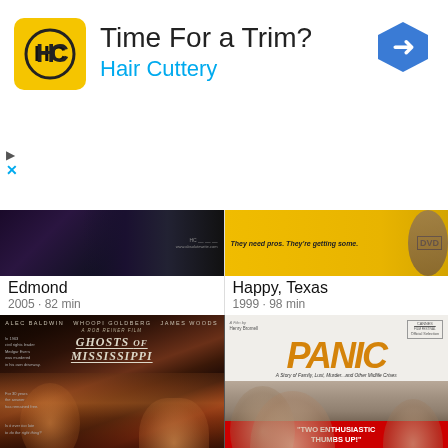[Figure (screenshot): Hair Cuttery advertisement banner with logo, text 'Time For a Trim?' and 'Hair Cuttery', and a blue navigation arrow icon]
[Figure (photo): Movie poster thumbnail for Edmond (2005) - dark purple/black tones]
Edmond
2005 • 82 min
[Figure (photo): Movie poster thumbnail for Happy, Texas (1999) - yellow background with tagline 'They need pros. They're getting some.']
Happy, Texas
1999 • 98 min
[Figure (photo): Movie poster for Ghosts of Mississippi featuring Alec Baldwin, Whoopi Goldberg, James Woods - dark dramatic faces on warm toned background]
[Figure (photo): Movie poster for Panic - orange/gold title on light background with dramatic closeup of actors and red quote bar reading 'TWO ENTHUSIASTIC THUMBS UP!']